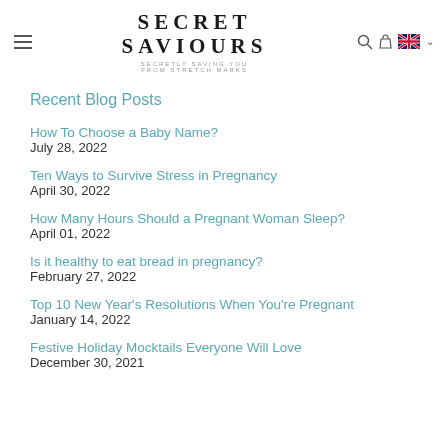SECRET SAVIOURS — SECRETLY SAVING YOU FROM STRETCH MARKS
Recent Blog Posts
How To Choose a Baby Name?
July 28, 2022
Ten Ways to Survive Stress in Pregnancy
April 30, 2022
How Many Hours Should a Pregnant Woman Sleep?
April 01, 2022
Is it healthy to eat bread in pregnancy?
February 27, 2022
Top 10 New Year's Resolutions When You're Pregnant
January 14, 2022
Festive Holiday Mocktails Everyone Will Love
December 30, 2021